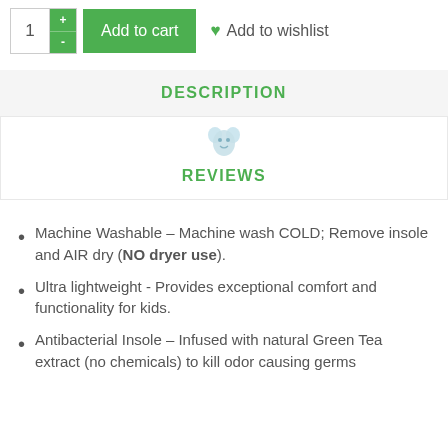[Figure (screenshot): Add to cart UI with quantity selector (showing '1'), green Add to cart button, and Add to wishlist link with green heart icon]
DESCRIPTION
[Figure (illustration): Small decorative character/mascot icon above REVIEWS tab]
REVIEWS
Machine Washable – Machine wash COLD; Remove insole and AIR dry (NO dryer use).
Ultra lightweight - Provides exceptional comfort and functionality for kids.
Antibacterial Insole – Infused with natural Green Tea extract (no chemicals) to kill odor causing germs